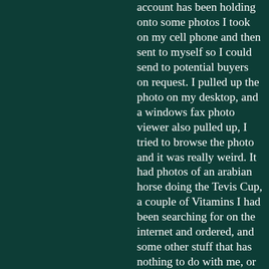account has been holding onto some photos I took on my cell phone and then sent to myself so I could send to potential buyers on request. I pulled up the photo on my desktop, and a windows fax photo viewer also pulled up, I tried to browse the photo and it was really weird. It had photos of an arabian horse doing the Tevis Cup, a couple of Vitamins I had been searching for on the internet and ordered, and some other stuff that has nothing to do with me, or does. It was really weird, I had recently been to AKC, the vitamins were the weirdest of all because I had searched for those last week. I had to release it from my quarantine folder just to receive the photos, and google has been slowly sending me the photos I